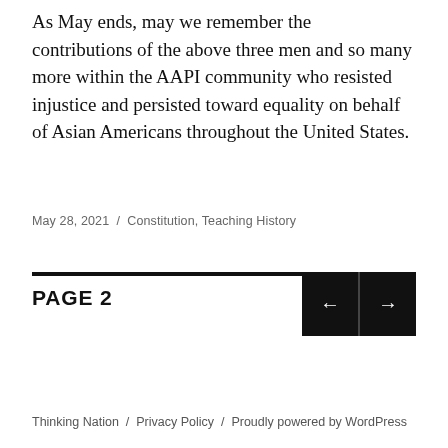As May ends, may we remember the contributions of the above three men and so many more within the AAPI community who resisted injustice and persisted toward equality on behalf of Asian Americans throughout the United States.
May 28, 2021 / Constitution, Teaching History
PAGE 2
Thinking Nation / Privacy Policy / Proudly powered by WordPress